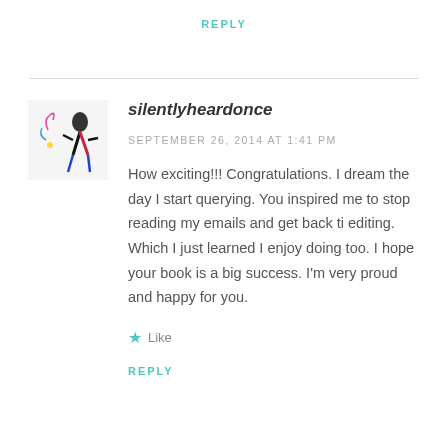REPLY
silentlyheardonce
SEPTEMBER 26, 2014 AT 1:41 PM
How exciting!!! Congratulations. I dream the day I start querying. You inspired me to stop reading my emails and get back ti editing. Which I just learned I enjoy doing too. I hope your book is a big success. I'm very proud and happy for you.
Like
REPLY